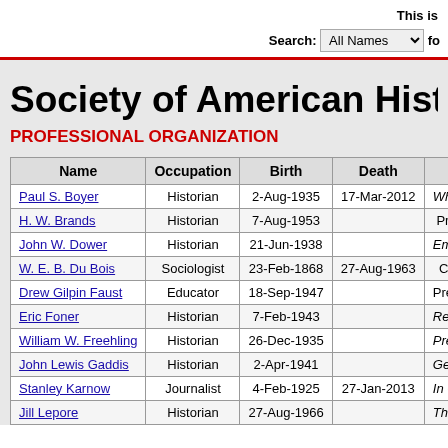This is
Search: All Names for
Society of American Historia
PROFESSIONAL ORGANIZATION
| Name | Occupation | Birth | Death |  |
| --- | --- | --- | --- | --- |
| Paul S. Boyer | Historian | 2-Aug-1935 | 17-Mar-2012 | When |
| H. W. Brands | Historian | 7-Aug-1953 |  | Prolif |
| John W. Dower | Historian | 21-Jun-1938 |  | Embr |
| W. E. B. Du Bois | Sociologist | 23-Feb-1868 | 27-Aug-1963 | Civil |
| Drew Gilpin Faust | Educator | 18-Sep-1947 |  | Presid |
| Eric Foner | Historian | 7-Feb-1943 |  | Recor |
| William W. Freehling | Historian | 26-Dec-1935 |  | Prelu |
| John Lewis Gaddis | Historian | 2-Apr-1941 |  | Georg |
| Stanley Karnow | Journalist | 4-Feb-1925 | 27-Jan-2013 | In Ou |
| Jill Lepore | Historian | 27-Aug-1966 |  | The N |